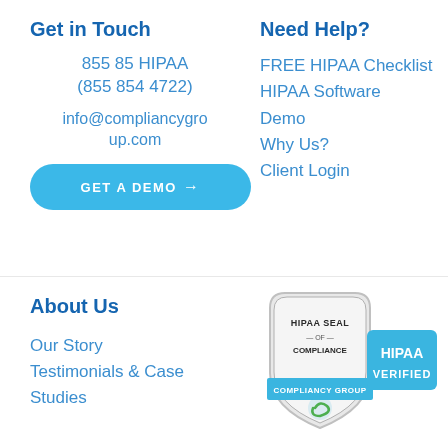Get in Touch
855 85 HIPAA
(855 854 4722)
info@compliancygroup.com
GET A DEMO →
Need Help?
FREE HIPAA Checklist
HIPAA Software Demo
Why Us?
Client Login
About Us
Our Story
Testimonials & Case Studies
[Figure (logo): HIPAA Seal of Compliance badge from Compliancy Group with HIPAA VERIFIED label in blue]